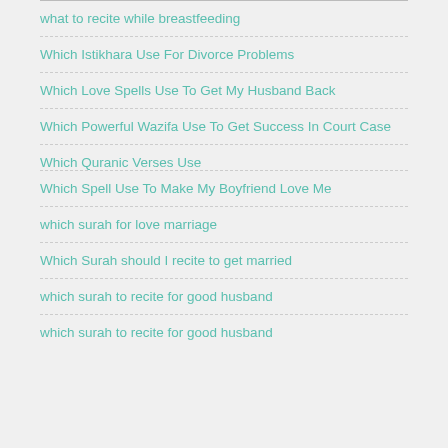what to recite while breastfeeding
Which Istikhara Use For Divorce Problems
Which Love Spells Use To Get My Husband Back
Which Powerful Wazifa Use To Get Success In Court Case
Which Quranic Verses Use To...
[Figure (other): Black banner overlay: 'Click to Consult on Whatsapp']
Which Spell Use To Make My Boyfriend Love Me
which surah for love marriage
Which Surah should I recite to get married
which surah to recite for good husband
which...